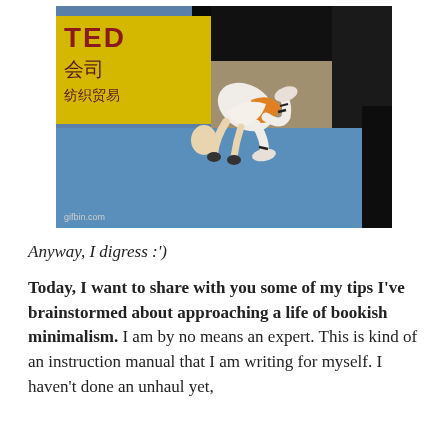[Figure (photo): A martial arts performer in white and orange costume bending forward deeply, almost touching the blue mat floor with their hands, at what appears to be a Wushu competition. A yellow banner in the background shows 'TED' in large letters and Chinese characters. Watermark reads 'gifbin.com'.]
Anyway, I digress :')
Today, I want to share with you some of my tips I've brainstormed about approaching a life of bookish minimalism. I am by no means an expert. This is kind of an instruction manual that I am writing for myself. I haven't done an unhaul yet,